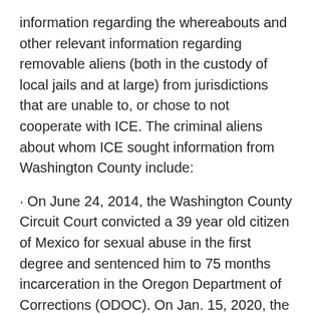information regarding the whereabouts and other relevant information regarding removable aliens (both in the custody of local jails and at large) from jurisdictions that are unable to, or chose to not cooperate with ICE. The criminal aliens about whom ICE sought information from Washington County include:
• On June 24, 2014, the Washington County Circuit Court convicted a 39 year old citizen of Mexico for sexual abuse in the first degree and sentenced him to 75 months incarceration in the Oregon Department of Corrections (ODOC). On Jan. 15, 2020, the ODOC transferred custody of the man to the Washington County Jail located in Hillsboro, Oregon. On Jan. 15, 2020 ICE lodged an